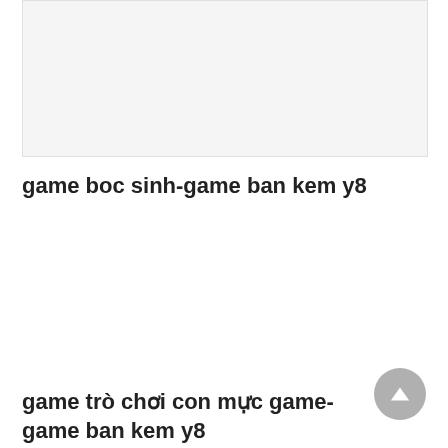[Figure (other): Light gray placeholder image box at top of page]
game boc sinh-game ban kem y8
game trò chơi con mực game-game ban kem y8